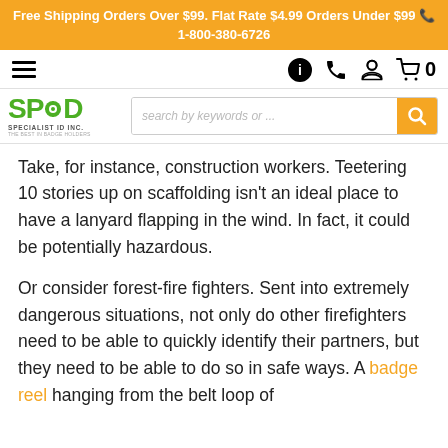Free Shipping Orders Over $99. Flat Rate $4.99 Orders Under $99 📞 1-800-380-6726
[Figure (logo): SPID Specialist ID Inc. logo with green text and gear icon, navigation bar with hamburger menu, info, phone, account, and cart icons]
[Figure (screenshot): Search bar with placeholder 'search by keywords or ...' and orange search button]
Take, for instance, construction workers. Teetering 10 stories up on scaffolding isn't an ideal place to have a lanyard flapping in the wind. In fact, it could be potentially hazardous.
Or consider forest-fire fighters. Sent into extremely dangerous situations, not only do other firefighters need to be able to quickly identify their partners, but they need to be able to do so in safe ways. A badge reel hanging from the belt loop of